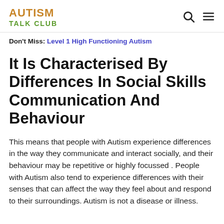AUTISM TALK CLUB
Don't Miss: Level 1 High Functioning Autism
It Is Characterised By Differences In Social Skills Communication And Behaviour
This means that people with Autism experience differences in the way they communicate and interact socially, and their behaviour may be repetitive or highly focussed. People with Autism also tend to experience differences with their senses that can affect the way they feel about and respond to their surroundings. Autism is not a disease or illness.